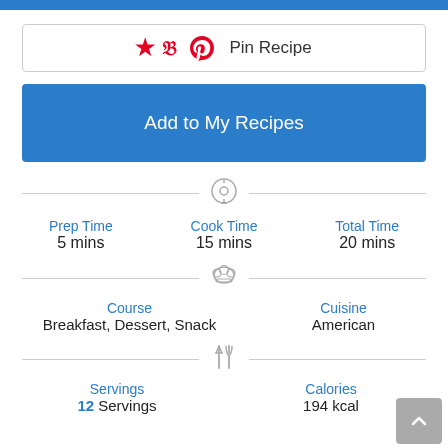[Figure (other): Blue bar at top of page]
Pin Recipe
Add to My Recipes
Prep Time
5 mins
Cook Time
15 mins
Total Time
20 mins
Course
Breakfast, Dessert, Snack
Cuisine
American
Servings
12 Servings
Calories
194 kcal